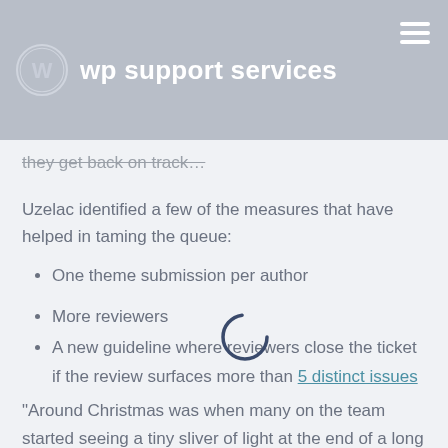wp support services
they get back on track…
Uzelac identified a few of the measures that have helped in taming the queue:
One theme submission per author
More reviewers
A new guideline where reviewers close the ticket if the review surfaces more than 5 distinct issues
"Around Christmas was when many on the team started seeing a tiny sliver of light at the end of a long tunnel," Key Reviewer Justin Tadlock said. "In the past few days, seeing the queue get below 200 themes has been a high point. Folks on the team are excited because our ideas are paying off."